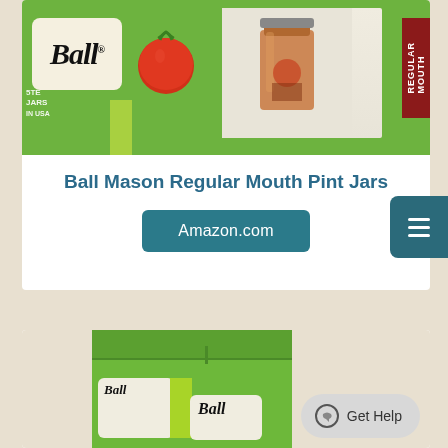[Figure (photo): Ball Mason jar product box packaging photo — green box with Ball logo, tomatoes, and a mason jar filled with sauce. Red 'Regular Mouth' badge on right side.]
Ball Mason Regular Mouth Pint Jars
Amazon.com
[Figure (photo): Green Ball Mason jar cardboard box product packaging, viewed at angle, with white label and lime green stripe showing Ball logo.]
Get Help